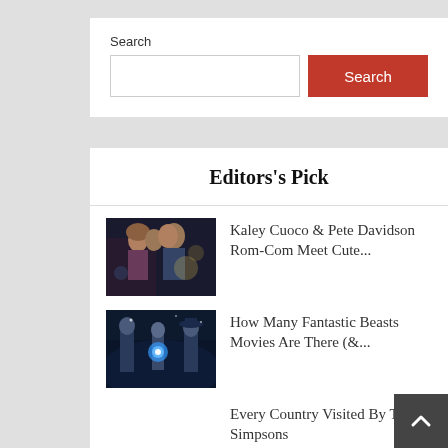Search
Search (button)
Editors's Pick
[Figure (photo): A romantic close-up of a man and woman facing each other, dark moody lighting, cinematic scene]
Kaley Cuoco & Pete Davidson Rom-Com Meet Cute...
[Figure (photo): Fantastic Beasts movie promotional image with characters in dark fantasy setting, glowing blue orb]
How Many Fantastic Beasts Movies Are There (&...
Every Country Visited By The Simpsons